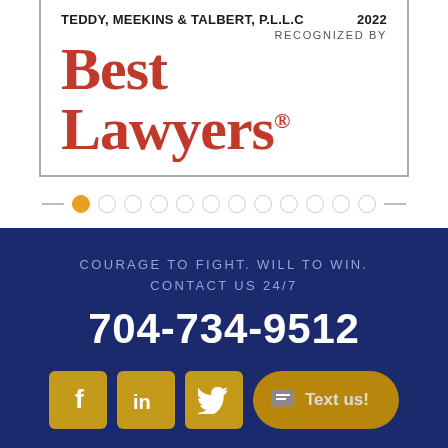[Figure (logo): Best Lawyers recognition badge for Teddy, Meekins & Talbert, P.L.L.C. 2022. Shows firm name at top left, year 2022 at top right, 'RECOGNIZED BY' subtitle, and 'Best Lawyers' in large red serif font with registered trademark symbol.]
[Figure (other): Carousel pagination dots: one filled orange dot (active) followed by eleven empty grey circle dots, with short horizontal lines on each end.]
COURAGE TO FIGHT. WILL TO WIN.
CONTACT US 24/7
704-734-9512
[Figure (other): Four social/contact buttons: Facebook (f), LinkedIn (in), Twitter (bird icon), and a 'Text us!' button with chat bubble icon, all in gold/amber color on dark navy background.]